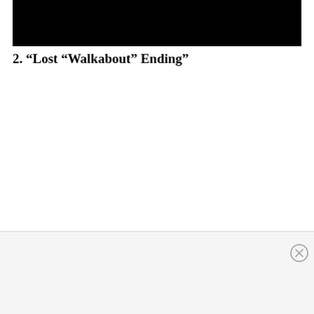[Figure (photo): Black rectangular image at the top of the page]
2. “Lost “Walkabout” Ending”